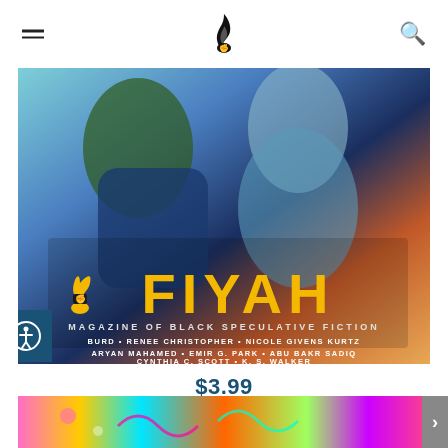FIYAH Magazine navigation header with hamburger menu and search icon
[Figure (illustration): FIYAH Magazine Issue #20 cover art showing stylized figures in blue and orange tones. Large yellow FIYAH logo with flame and fist icon. Subtitle 'MAGAZINE OF BLACK SPECULATIVE FICTION'. Authors listed: BURD, RENEE CHRISTOPHER, NICOLE GIVENS KURTZ, ARYAN MAHAMED, EMIR G. PARK, ABU BAKR SADIQ, CYNTHIA C. SCOTT, K. S. WALKER]
$3.99
FIYAH #20 | Love, Death, and Androids
[Figure (illustration): Colorful psychedelic cover art preview at bottom of page with bright rainbow colors and abstract figures]